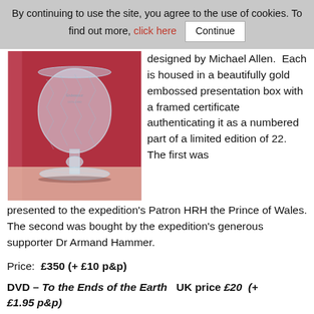By continuing to use the site, you agree to the use of cookies. To find out more, click here  Continue
[Figure (photo): Crystal goblet/chalice on a red background, engraved with text, sitting on a decorative base]
designed by Michael Allen.  Each is housed in a beautifully gold embossed presentation box with a framed certificate authenticating it as a numbered part of a limited edition of 22. The first was presented to the expedition's Patron HRH the Prince of Wales. The second was bought by the expedition's generous supporter Dr Armand Hammer.
Price:  £350 (+ £10 p&p)
DVD – To the Ends of the Earth   UK price £20  (+ £1.95 p&p)